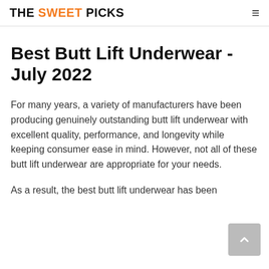THE SWEET PICKS
Best Butt Lift Underwear - July 2022
For many years, a variety of manufacturers have been producing genuinely outstanding butt lift underwear with excellent quality, performance, and longevity while keeping consumer ease in mind. However, not all of these butt lift underwear are appropriate for your needs.
As a result, the best butt lift underwear has been